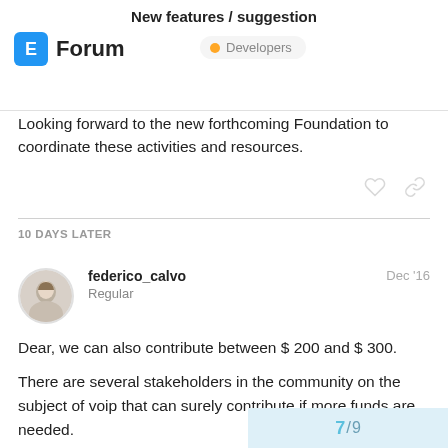New features / suggestion
Looking forward to the new forthcoming Foundation to coordinate these activities and resources.
10 DAYS LATER
federico_calvo
Regular
Dec '16
Dear, we can also contribute between $ 200 and $ 300.

There are several stakeholders in the community on the subject of voip that can surely contribute if more funds are needed.

Regards
7 / 9